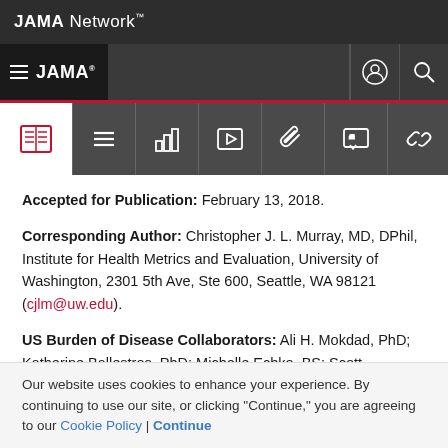JAMA Network
JAMA
Accepted for Publication: February 13, 2018.
Corresponding Author: Christopher J. L. Murray, MD, DPhil, Institute for Health Metrics and Evaluation, University of Washington, 2301 5th Ave, Ste 600, Seattle, WA 98121 (cjlm@uw.edu).
US Burden of Disease Collaborators: Ali H. Mokdad, PhD; Katherine Ballestros, PhD; Michelle Echko, BS; Scott
Our website uses cookies to enhance your experience. By continuing to use our site, or clicking "Continue," you are agreeing to our Cookie Policy | Continue